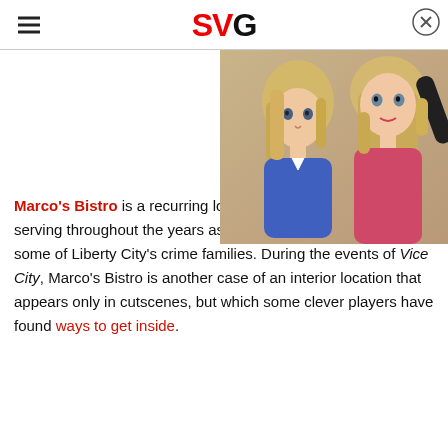SVG
[Figure (illustration): Two animated female characters with blonde hair, one wearing blue and one wearing pink/red, from a GTA-style video game.]
Marco's Bistro is a recurring location in the GTA series, serving throughout the years as a regular meeting place for some of Liberty City's crime families. During the events of Vice City, Marco's Bistro is another case of an interior location that appears only in cutscenes, but which some clever players have found ways to get inside.